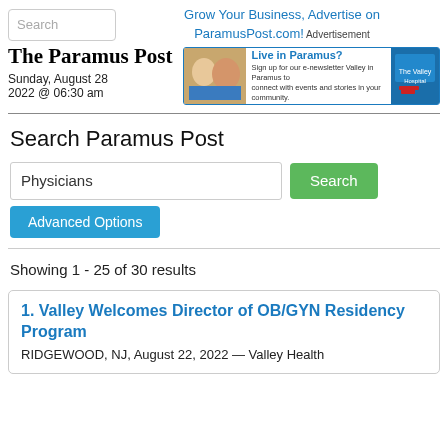Search | Grow Your Business, Advertise on ParamusPost.com! Advertisement
The Paramus Post
Sunday, August 28
2022 @ 06:30 am
[Figure (illustration): Banner advertisement: Live in Paramus? Sign up for our e-newsletter Valley in Paramus to connect with events and stories in your community.]
Search Paramus Post
Physicians [Search] [Advanced Options]
Showing 1 - 25 of 30 results
1. Valley Welcomes Director of OB/GYN Residency Program
RIDGEWOOD, NJ, August 22, 2022 — Valley Health